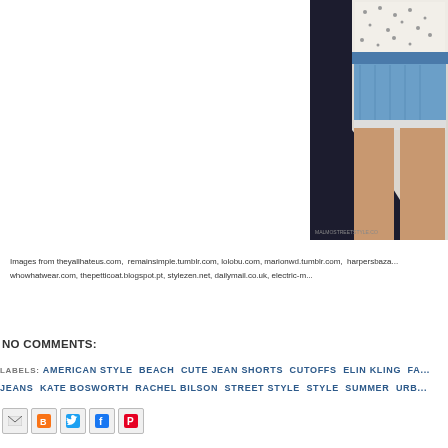[Figure (photo): Fashion street style photo showing a person wearing a dark blazer/jacket, printed white shirt, and denim cutoff shorts. Watermark reads MALMOSTREETSTYLE.CO]
Images from theyallhateus.com,  remainsimple.tumblr.com, lolobu.com, marionwd.tumblr.com,  harpersbaza... whowhatwear.com, thepetticoat.blogspot.pt, stylezen.net, dailymail.co.uk, electric-m...
NO COMMENTS:
LABELS: AMERICAN STYLE  BEACH  CUTE JEAN SHORTS  CUTOFFS  ELIN KLING  FA... JEANS  KATE BOSWORTH  RACHEL BILSON  STREET STYLE  STYLE  SUMMER  URB...